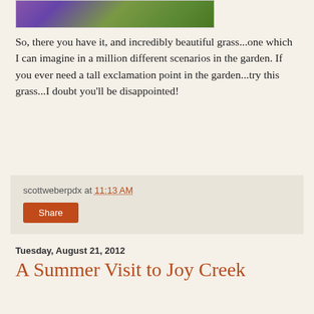[Figure (photo): Top portion of a photo showing purple flowers and green foliage]
So, there you have it, and incredibly beautiful grass...one which I can imagine in a million different scenarios in the garden. If you ever need a tall exclamation point in the garden...try this grass...I doubt you'll be disappointed!
scottweberpdx at 11:13 AM
Share
Tuesday, August 21, 2012
A Summer Visit to Joy Creek
[Figure (photo): Photo of ornamental grasses at Joy Creek Nursery, with text overlay 'Nursery Visit' at top left and 'Joy Creek Nursery' at bottom right]
First off...a big THANK YOU to all of you out there who piped up